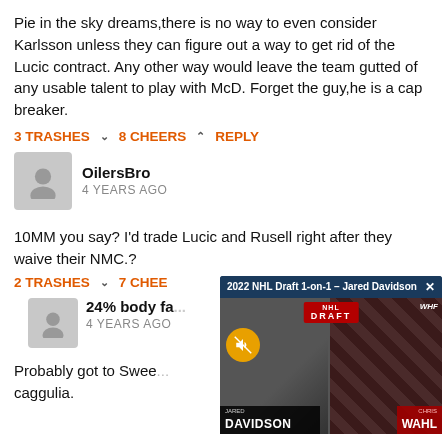Pie in the sky dreams,there is no way to even consider Karlsson unless they can figure out a way to get rid of the Lucic contract. Any other way would leave the team gutted of any usable talent to play with McD. Forget the guy,he is a cap breaker.
3 TRASHES ∨  8 CHEERS ∧  REPLY
OilersBro
4 YEARS AGO
10MM you say? I'd trade Lucic and Rusell right after they waive their NMC.?
2 TRASHES ∨  7 CHEE...
[Figure (screenshot): Video popup overlay showing '2022 NHL Draft 1-on-1 – Jared Davidson' with two interview participants (Jared Davidson and Chris Wahl) in a split-screen video frame]
24% body fa...
4 YEARS AGO
Probably got to Swee...
caggulia.